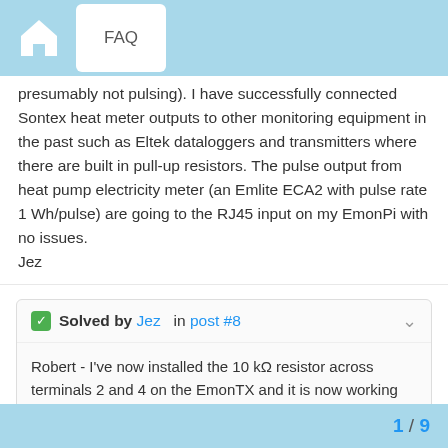FAQ
presumably not pulsing). I have successfully connected Sontex heat meter outputs to other monitoring equipment in the past such as Eltek dataloggers and transmitters where there are built in pull-up resistors. The pulse output from heat pump electricity meter (an Emlite ECA2 with pulse rate 1 Wh/pulse) are going to the RJ45 input on my EmonPi with no issues.
Jez
Solved by Jez   in post #8
Robert - I've now installed the 10 kΩ resistor across terminals 2 and 4 on the EmonTX and it is now working perfectly. Here's a plot of electric in and heat out (in W) for the system feeding hot water to the cylinder (with supply temperature around 50degC). COP is between 2 and 3 which is what I wou…
1 / 9